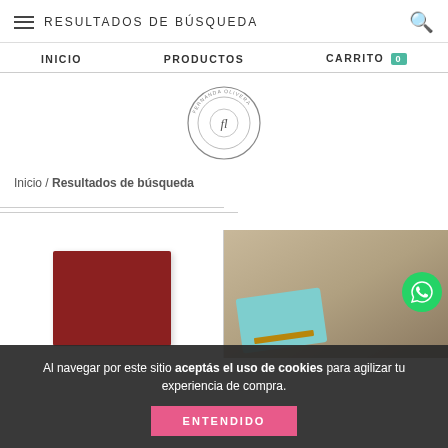RESULTADOS DE BÚSQUEDA
INICIO   PRODUCTOS   CARRITO 0
[Figure (logo): Circular logo with 'FL' initials and text around the border]
Inicio / Resultados de búsqueda
[Figure (photo): Red leather notebook product image on left, teal/turquoise leather product with caliper tool on right, WhatsApp green circle button overlay]
Al navegar por este sitio aceptás el uso de cookies para agilizar tu experiencia de compra.
ENTENDIDO